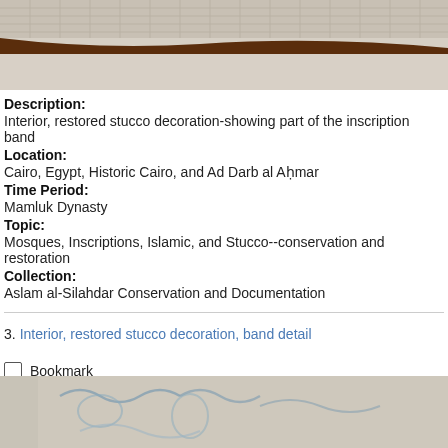[Figure (photo): Top portion of a photo showing interior stucco decoration with an inscription band — pale stone surface with a dark brown horizontal stripe running across it, with geometric patterned tiles visible above.]
Description:
Interior, restored stucco decoration-showing part of the inscription band
Location:
Cairo, Egypt, Historic Cairo, and Ad Darb al Aḥmar
Time Period:
Mamluk Dynasty
Topic:
Mosques, Inscriptions, Islamic, and Stucco--conservation and restoration
Collection:
Aslam al-Silahdar Conservation and Documentation
3. Interior, restored stucco decoration, band detail
Bookmark
[Figure (photo): Bottom portion of a photo showing close-up detail of stucco decoration with carved or painted blue/gray arabesque patterns on a pale stone surface.]